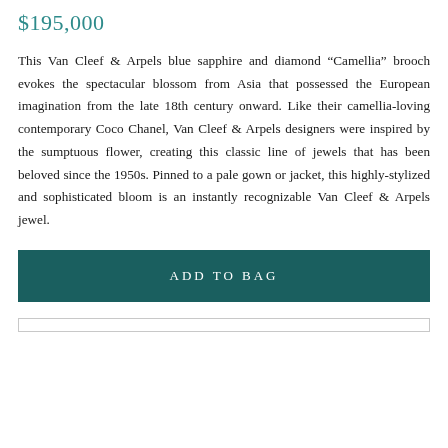$195,000
This Van Cleef & Arpels blue sapphire and diamond "Camellia" brooch evokes the spectacular blossom from Asia that possessed the European imagination from the late 18th century onward. Like their camellia-loving contemporary Coco Chanel, Van Cleef & Arpels designers were inspired by the sumptuous flower, creating this classic line of jewels that has been beloved since the 1950s. Pinned to a pale gown or jacket, this highly-stylized and sophisticated bloom is an instantly recognizable Van Cleef & Arpels jewel.
ADD TO BAG